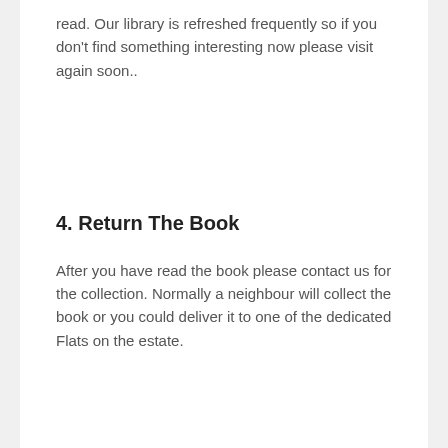read. Our library is refreshed frequently so if you don't find something interesting now please visit again soon..
4. Return The Book
After you have read the book please contact us for the collection. Normally a neighbour will collect the book or you could deliver it to one of the dedicated Flats on the estate.